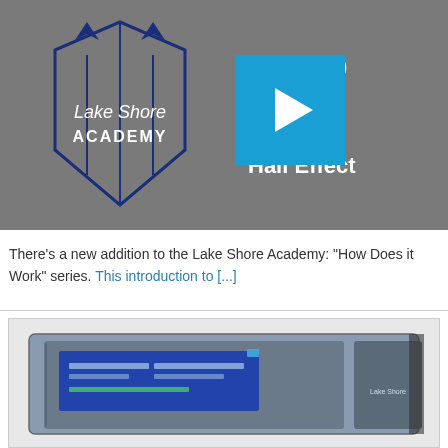[Figure (screenshot): Lake Shore Academy video thumbnail showing the LSA logo on a gray background with a blue play button overlay. Text on the right reads 'How Does it Work', 'Introduction', 'Hall Effect' partially visible.]
There's a new addition to the Lake Shore Academy: "How Does it Work" series. This introduction to [...]
[Figure (photo): Photo of a Lake Shore scientific instrument — a rack-mounted measurement system with a display screen and Lake Shore branding.]